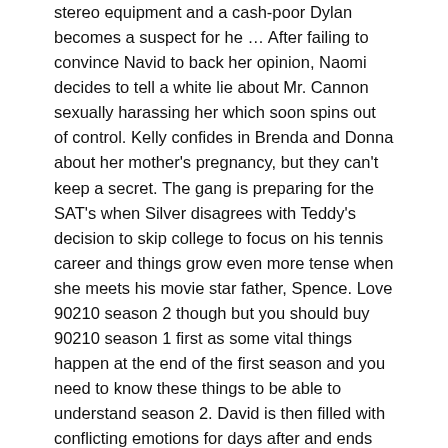stereo equipment and a cash-poor Dylan becomes a suspect for he … After failing to convince Navid to back her opinion, Naomi decides to tell a white lie about Mr. Cannon sexually harassing her which soon spins out of control. Kelly confides in Brenda and Donna about her mother's pregnancy, but they can't keep a secret. The gang is preparing for the SAT's when Silver disagrees with Teddy's decision to skip college to focus on his tennis career and things grow even more tense when she meets his movie star father, Spence. Love 90210 season 2 though but you should buy 90210 season 1 first as some vital things happen at the end of the first season and you need to know these things to be able to understand season 2. David is then filled with conflicting emotions for days after and ends up telling Brandon, and the school, about regretting the way he treated Scott this year. Kelly doesn't want to be sucked back into her mother's bad behavior which continues to persist, but Silver feels differently and wants to re-bond with Jackie. Watch Full Episodes. Emily refuses to accept the fact that Brandon no longer wants to see her. S2 E3 46min TV-PG. Debbie tries to smooth over her relationship with Dixon with a trip to an arcade. Season 2 has the fab summer episodes, that pile on the 'issues'.